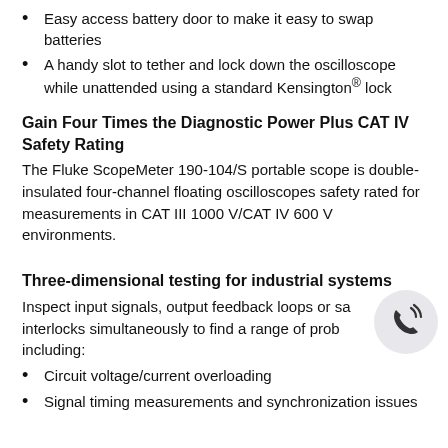Easy access battery door to make it easy to swap batteries
A handy slot to tether and lock down the oscilloscope while unattended using a standard Kensington® lock
Gain Four Times the Diagnostic Power Plus CAT IV Safety Rating
The Fluke ScopeMeter 190-104/S portable scope is double-insulated four-channel floating oscilloscopes safety rated for measurements in CAT III 1000 V/CAT IV 600 V environments.
Three-dimensional testing for industrial systems
Inspect input signals, output feedback loops or safety interlocks simultaneously to find a range of problems including:
Circuit voltage/current overloading
Signal timing measurements and synchronization issues